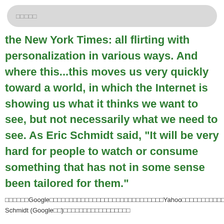□□□□□
the New York Times: all flirting with personalization in various ways. And where this...this moves us very quickly toward a world, in which the Internet is showing us what it thinks we want to see, but not necessarily what we need to see. As Eric Schmidt said, "It will be very hard for people to watch or consume something that has not in some sense been tailored for them."
□□□□□□Google□□□□□□□□□□□□□□□□□□□□□□□□□□□□□Yahoo□□□□□□□□□□□□□□□□□□□□□□□□□□□□□□□□□□□□□□□□□□□□□□□□...□□□□□□□□□□□□□□□□□□□□□□□□□□□□□□□□□□□□□□□□□□□□Eric Schmidt (Google□□)□□□□□□□□□□□□□□□□□